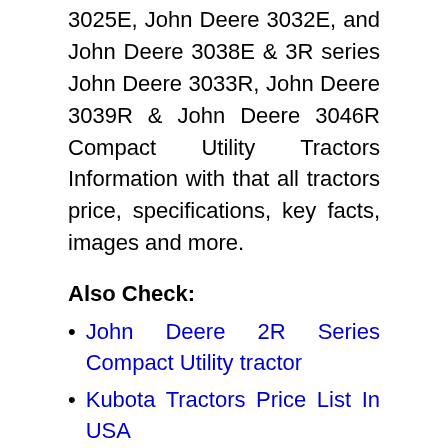3025E, John Deere 3032E, and John Deere 3038E & 3R series John Deere 3033R, John Deere 3039R & John Deere 3046R Compact Utility Tractors Information with that all tractors price, specifications, key facts, images and more.
Also Check:
John Deere 2R Series Compact Utility tractor
Kubota Tractors Price List In USA
KUBOTA MINI TRACTORS PRICE LIST
Kubota L3560 Price
John Deere 7930 Tractor